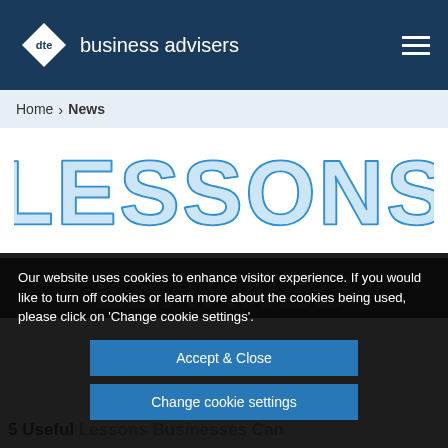dte business advisers
Home › News
[Figure (illustration): Large hand-drawn style blue text reading LESSONS on white background]
Our website uses cookies to enhance visitor experience. If you would like to turn off cookies or learn more about the cookies being used, please click on 'Change cookie settings'.
Accept & Close
Change cookie settings
5 Useful Lessons Businesses Can